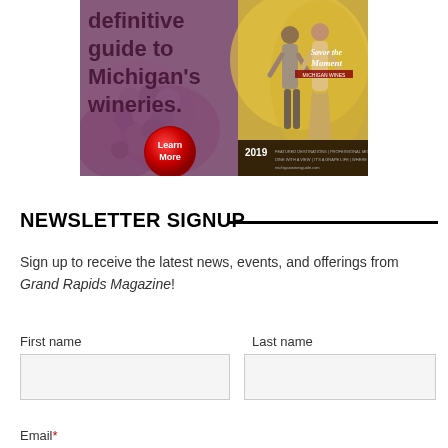[Figure (illustration): Advertisement banner for Michigan's wineries guide - shows grapes, a couple in a vineyard, and a '2019 Savor the Moment' booklet cover with a red 'Learn More' button. Text reads: definitive guide to Michigan's wineries.]
NEWSLETTER SIGNUP
Sign up to receive the latest news, events, and offerings from Grand Rapids Magazine!
First name
Last name
Email*